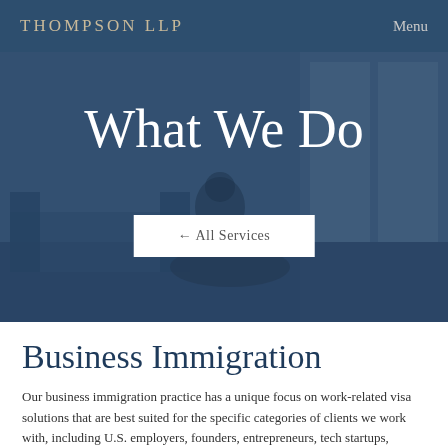THOMPSON LLP    Menu
[Figure (photo): Hero section with a darkened blue overlay over a photo of a modern office/living room interior. A person is seated on a sofa in the background.]
What We Do
← All Services
Business Immigration
Our business immigration practice has a unique focus on work-related visa solutions that are best suited for the specific categories of clients we work with, including U.S. employers, founders, entrepreneurs, tech startups, investors and foreign